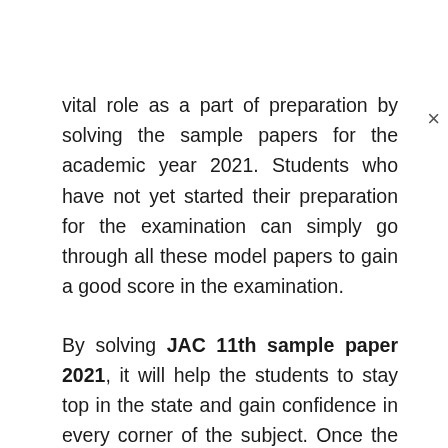vital role as a part of preparation by solving the sample papers for the academic year 2021. Students who have not yet started their preparation for the examination can simply go through all these model papers to gain a good score in the examination.

By solving JAC 11th sample paper 2021, it will help the students to stay top in the state and gain confidence in every corner of the subject. Once the individual overcome of the exam fear, then they can easily score good marks in the